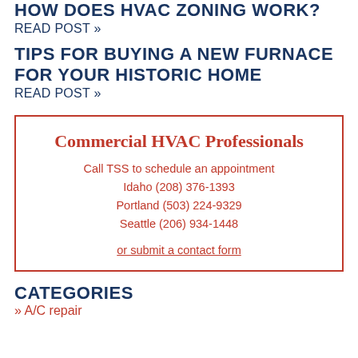HOW DOES HVAC ZONING WORK?
READ POST »
TIPS FOR BUYING A NEW FURNACE FOR YOUR HISTORIC HOME
READ POST »
Commercial HVAC Professionals
Call TSS to schedule an appointment
Idaho (208) 376-1393
Portland (503) 224-9329
Seattle (206) 934-1448
or submit a contact form
CATEGORIES
» A/C repair